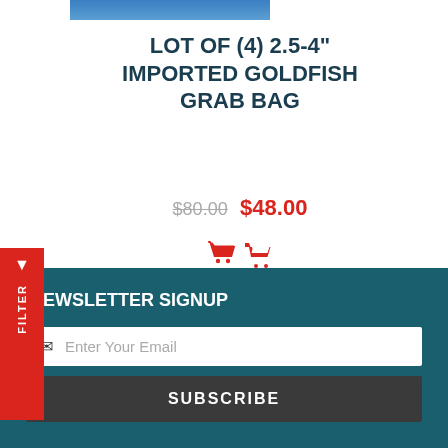[Figure (photo): Partial product image of goldfish, blue background, top portion visible]
LOT OF (4) 2.5-4" IMPORTED GOLDFISH GRAB BAG
$80.00 $48.00
[Figure (illustration): Red shopping cart icon]
1 2 >
NEWSLETTER SIGNUP
Enter Your Email
SUBSCRIBE